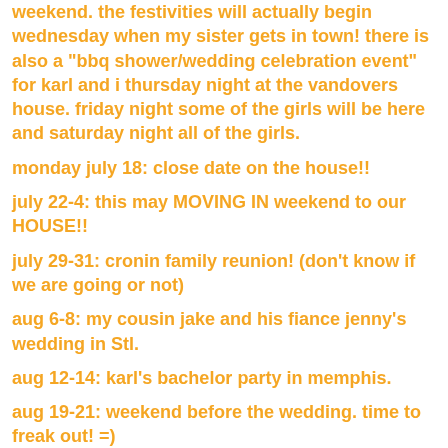weekend. the festivities will actually begin wednesday when my sister gets in town! there is also a "bbq shower/wedding celebration event" for karl and i thursday night at the vandovers house. friday night some of the girls will be here and saturday night all of the girls.
monday july 18: close date on the house!!
july 22-4: this may MOVING IN weekend to our HOUSE!!
july 29-31: cronin family reunion! (don't know if we are going or not)
aug 6-8: my cousin jake and his fiance jenny's wedding in Stl.
aug 12-14: karl's bachelor party in memphis.
aug 19-21: weekend before the wedding. time to freak out! =)